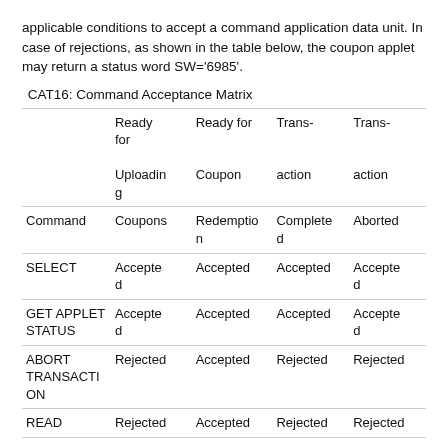applicable conditions to accept a command application data unit. In case of rejections, as shown in the table below, the coupon applet may return a status word SW='6985'.
CAT16: Command Acceptance Matrix
| Command | Ready for Uploading Coupons | Ready for Coupon Redemption | Trans-action Completed | Trans-action Aborted |
| --- | --- | --- | --- | --- |
| SELECT | Accepted | Accepted | Accepted | Accepted |
| GET APPLET STATUS | Accepted | Accepted | Accepted | Accepted |
| ABORT TRANSACTION | Rejected | Accepted | Rejected | Rejected |
| READ | Rejected | Accepted | Rejected | Rejected |